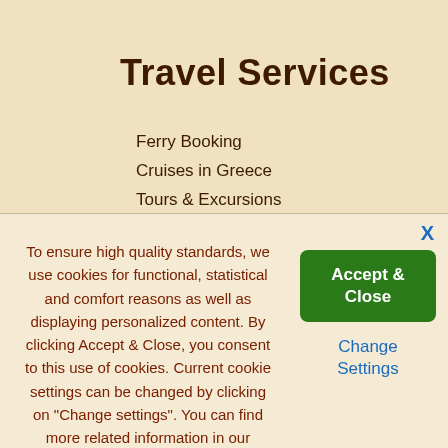Travel Services
Ferry Booking
Cruises in Greece
Tours & Excursions
Flights
Hotel & Villas Booking
To ensure high quality standards, we use cookies for functional, statistical and comfort reasons as well as displaying personalized content. By clicking Accept & Close, you consent to this use of cookies. Current cookie settings can be changed by clicking on "Change settings". You can find more related information in our cookies policy.